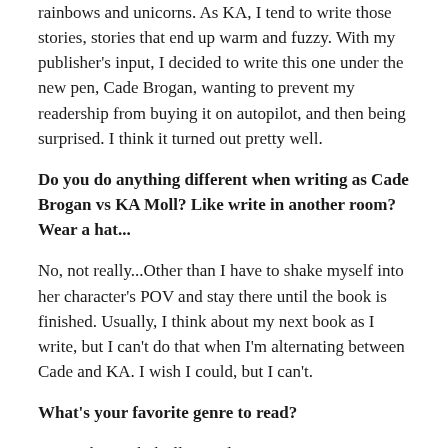rainbows and unicorns. As KA, I tend to write those stories, stories that end up warm and fuzzy. With my publisher's input, I decided to write this one under the new pen, Cade Brogan, wanting to prevent my readership from buying it on autopilot, and then being surprised. I think it turned out pretty well.
Do you do anything different when writing as Cade Brogan vs KA Moll? Like write in another room? Wear a hat...
No, not really...Other than I have to shake myself into her character's POV and stay there until the book is finished. Usually, I think about my next book as I write, but I can't do that when I'm alternating between Cade and KA. I wish I could, but I can't.
What's your favorite genre to read?
I enjoy bio-tech thrillers and contemporary romance.